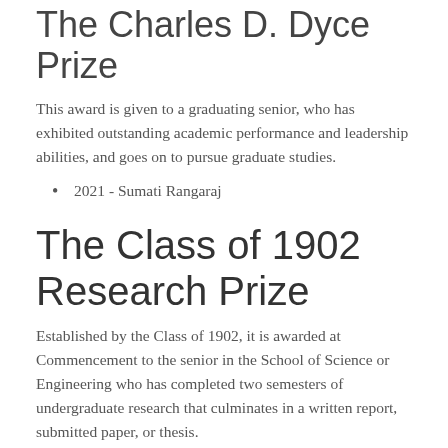The Charles D. Dyce Prize
This award is given to a graduating senior, who has exhibited outstanding academic performance and leadership abilities, and goes on to pursue graduate studies.
2021 - Sumati Rangaraj
The Class of 1902 Research Prize
Established by the Class of 1902, it is awarded at Commencement to the senior in the School of Science or Engineering who has completed two semesters of undergraduate research that culminates in a written report, submitted paper, or thesis.